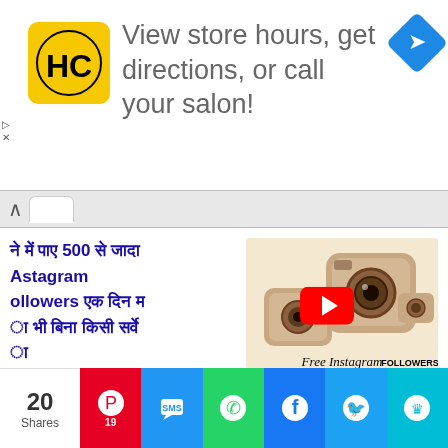[Figure (screenshot): Advertisement banner with HC salon logo, text 'View store hours, get directions, or call your salon!' and a blue navigation arrow icon]
[Figure (screenshot): Web page content showing Hindi text about getting 500+ Instagram followers and a YouTube video thumbnail with Instagram camera icons, plus a black embedded video player]
[Figure (screenshot): Social share bar with 20 shares count and buttons for Pinterest (19), SMS, WhatsApp, Facebook, Twitter, and more]